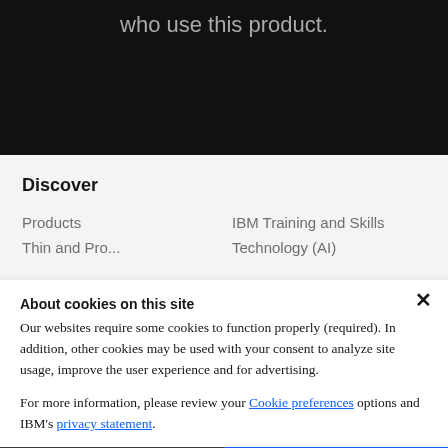who use this product.
Discover
Products
IBM Training and Skills
About cookies on this site
Our websites require some cookies to function properly (required). In addition, other cookies may be used with your consent to analyze site usage, improve the user experience and for advertising.
For more information, please review your Cookie preferences options and IBM's privacy statement.
Required only
Accept all